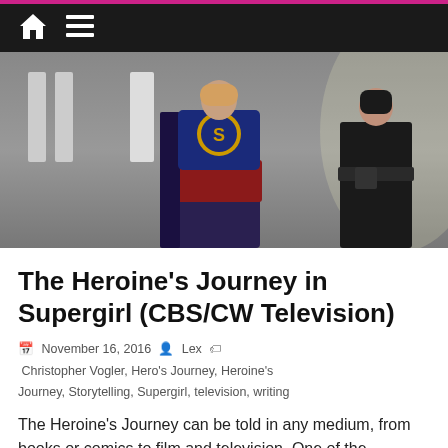Navigation bar with home icon and menu icon
[Figure (photo): Two women walking in a corridor — one dressed as Supergirl in blue and red costume with yellow S logo, the other in black tactical gear]
The Heroine's Journey in Supergirl (CBS/CW Television)
November 16, 2016  Lex  Christopher Vogler, Hero's Journey, Heroine's Journey, Storytelling, Supergirl, television, writing
The Heroine's Journey can be told in any medium, from books or comics to film and television. One of the